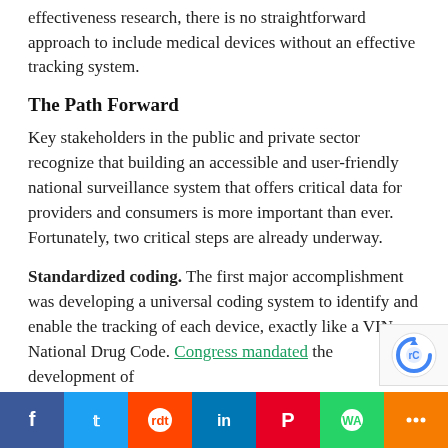effectiveness research, there is no straightforward approach to include medical devices without an effective tracking system.
The Path Forward
Key stakeholders in the public and private sector recognize that building an accessible and user-friendly national surveillance system that offers critical data for providers and consumers is more important than ever. Fortunately, two critical steps are already underway.
Standardized coding. The first major accomplishment was developing a universal coding system to identify and enable the tracking of each device, exactly like a VIN or National Drug Code. Congress mandated the development of
f  t  reddit  in  P  WhatsApp  share